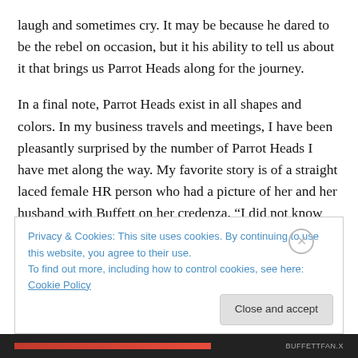laugh and sometimes cry. It may be because he dared to be the rebel on occasion, but it his ability to tell us about it that brings us Parrot Heads along for the journey.
In a final note, Parrot Heads exist in all shapes and colors. In my business travels and meetings, I have been pleasantly surprised by the number of Parrot Heads I have met along the way. My favorite story is of a straight laced female HR person who had a picture of her and her husband with Buffett on her credenza. “I did not know you were a Parrot Head?” I asked and we had a much more
Privacy & Cookies: This site uses cookies. By continuing to use this website, you agree to their use.
To find out more, including how to control cookies, see here: Cookie Policy
Close and accept